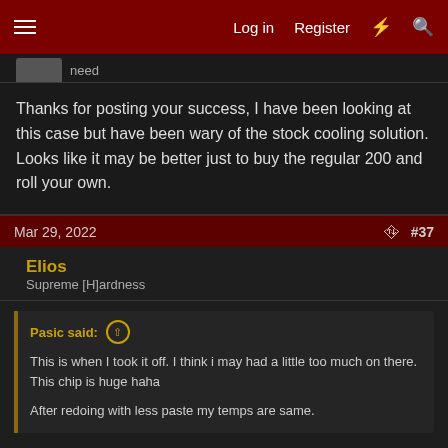Log in  Register  # Search
Thanks for posting your success, I have been looking at this case but have been wary of the stock cooling solution. Looks like it may be better just to buy the regular 200 and roll your own.
Mar 29, 2022  #37
Elios
Supreme [H]ardness
Pasic said:
This is when I took it off. I think i may had a little too much on there.
This chip is huge haha

After redoing with less paste my temps are same.
that look fine actually well i think the case chip is a